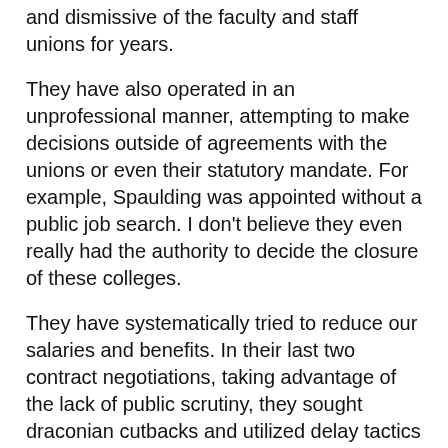and dismissive of the faculty and staff unions for years.
They have also operated in an unprofessional manner, attempting to make decisions outside of agreements with the unions or even their statutory mandate. For example, Spaulding was appointed without a public job search. I don't believe they even really had the authority to decide the closure of these colleges.
They have systematically tried to reduce our salaries and benefits. In their last two contract negotiations, taking advantage of the lack of public scrutiny, they sought draconian cutbacks and utilized delay tactics that the phrase “bad faith” only begins to describe. And as our union cannot strike, I was appalled to see it unable to defend things such as health benefits for new hires.
There has been little transparency, and strange behavior in decision-making. For example, the trustees quietly transferred millions of dollars from Northern Vermont University, where I teach, to Castleton College, which they